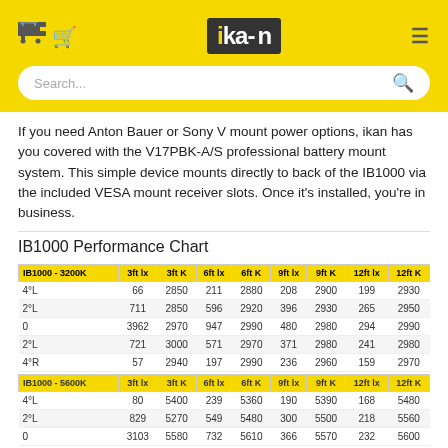ikan
If you need Anton Bauer or Sony V mount power options, ikan has you covered with the V17PBK-A/S professional battery mount system. This simple device mounts directly to back of the IB1000 via the included VESA mount receiver slots. Once it's installed, you're in business.
IB1000 Performance Chart
| IB1000 - 3200K | 3ft lx | 3ft K | 6ft lx | 6ft K | 9ft lx | 9ft K | 12ft lx | 12ft K |
| --- | --- | --- | --- | --- | --- | --- | --- | --- |
| 4°L | 66 | 2850 | 211 | 2880 | 208 | 2900 | 199 | 2930 |
| 2°L | 711 | 2850 | 596 | 2920 | 396 | 2930 | 265 | 2950 |
| 0 | 3962 | 2970 | 947 | 2990 | 480 | 2980 | 294 | 2990 |
| 2°L | 721 | 3000 | 571 | 2970 | 371 | 2980 | 241 | 2980 |
| 4°R | 57 | 2940 | 197 | 2990 | 236 | 2960 | 159 | 2970 |
| IB1000 - 5600K | 3ft lx | 3ft K | 6ft lx | 6ft K | 9ft lx | 9ft K | 12ft lx | 12ft K |
| 4°L | 80 | 5400 | 239 | 5360 | 190 | 5390 | 168 | 5480 |
| 2°L | 829 | 5270 | 549 | 5480 | 300 | 5500 | 218 | 5560 |
| 0 | 3103 | 5580 | 732 | 5610 | 366 | 5570 | 232 | 5600 |